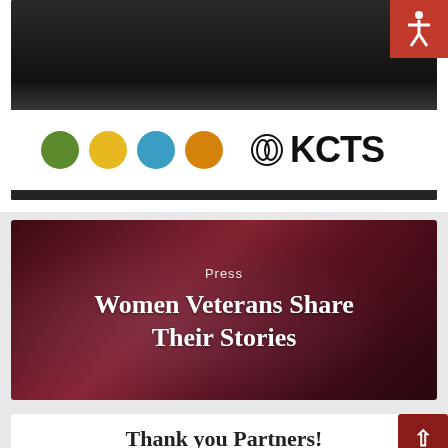[Figure (screenshot): KCTS PBS TV station panel discussion screenshot showing the KCTS logo with colored circles (green, yellow, blue, orange) on a white banner, people seated at a table in background]
[Figure (screenshot): Dark red/maroon video thumbnail with text overlay reading 'Press' and 'Women Veterans Share Their Stories']
Press
Women Veterans Share Their Stories
Thank you Partners!